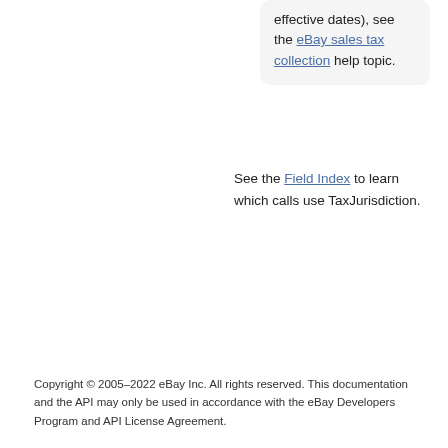effective dates), see the eBay sales tax collection help topic.
See the Field Index to learn which calls use TaxJurisdiction.
Copyright © 2005–2022 eBay Inc. All rights reserved. This documentation and the API may only be used in accordance with the eBay Developers Program and API License Agreement.